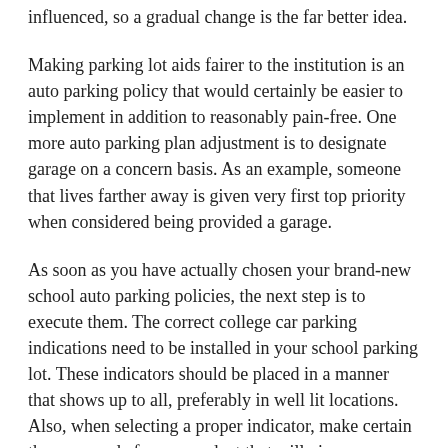influenced, so a gradual change is the far better idea.
Making parking lot aids fairer to the institution is an auto parking policy that would certainly be easier to implement in addition to reasonably pain-free. One more auto parking plan adjustment is to designate garage on a concern basis. As an example, someone that lives farther away is given very first top priority when considered being provided a garage.
As soon as you have actually chosen your brand-new school auto parking policies, the next step is to execute them. The correct college car parking indications need to be installed in your school parking lot. These indicators should be placed in a manner that shows up to all, preferably in well lit locations. Also, when selecting a proper indicator, make certain they are made from a product that will give you many years of service. Aluminum is an excellent choice as this product is resistant to corrosion.